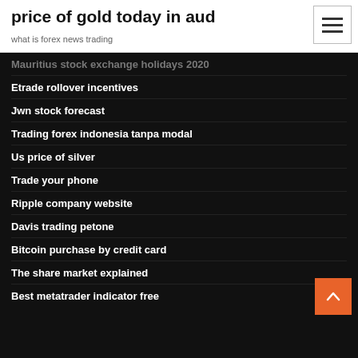price of gold today in aud
what is forex news trading
Mauritius stock exchange holidays 2020
Etrade rollover incentives
Jwn stock forecast
Trading forex indonesia tanpa modal
Us price of silver
Trade your phone
Ripple company website
Davis trading petone
Bitcoin purchase by credit card
The share market explained
Best metatrader indicator free